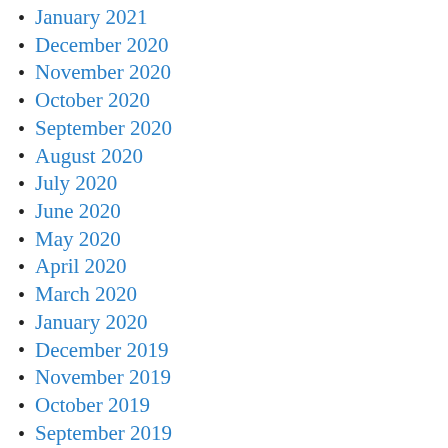January 2021
December 2020
November 2020
October 2020
September 2020
August 2020
July 2020
June 2020
May 2020
April 2020
March 2020
January 2020
December 2019
November 2019
October 2019
September 2019